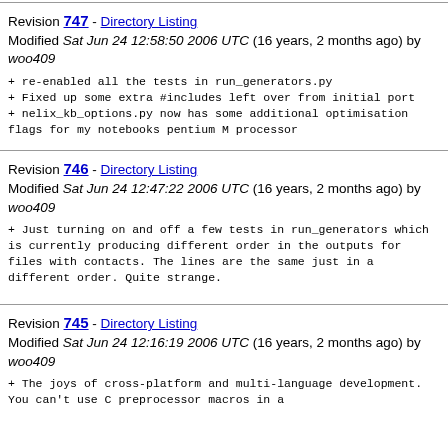Revision 747 - Directory Listing
Modified Sat Jun 24 12:58:50 2006 UTC (16 years, 2 months ago) by woo409
+ re-enabled all the tests in run_generators.py
+ Fixed up some extra #includes left over from initial port
+ nelix_kb_options.py now has some additional optimisation flags for my notebooks pentium M processor
Revision 746 - Directory Listing
Modified Sat Jun 24 12:47:22 2006 UTC (16 years, 2 months ago) by woo409
+ Just turning on and off a few tests in run_generators which is currently producing different order in the outputs for files with contacts. The lines are the same just in a different order. Quite strange.
Revision 745 - Directory Listing
Modified Sat Jun 24 12:16:19 2006 UTC (16 years, 2 months ago) by woo409
+ The joys of cross-platform and multi-language development. You can't use C preprocessor macros in a